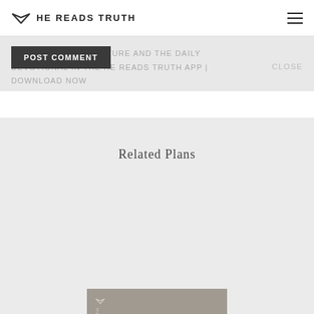HE READS TRUTH
READ TODAY'S SCRIPTURE AND THE DAILY DEVOTIONAL IN THE HE READS TRUTH APP | DOWNLOAD NOW
POST COMMENT
CLOSE
Related Plans
[Figure (illustration): Book cover for 'Amen & Amen' by He Reads Truth, gray/taupe background with white bold serif text and small logo at top left.]